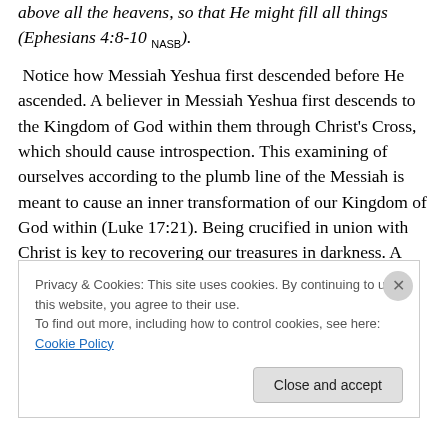above all the heavens, so that He might fill all things (Ephesians 4:8-10 NASB).
Notice how Messiah Yeshua first descended before He ascended. A believer in Messiah Yeshua first descends to the Kingdom of God within them through Christ's Cross, which should cause introspection. This examining of ourselves according to the plumb line of the Messiah is meant to cause an inner transformation of our Kingdom of God within (Luke 17:21). Being crucified in union with Christ is key to recovering our treasures in darkness. A person who descends to their Kingdom of God within goes
Privacy & Cookies: This site uses cookies. By continuing to use this website, you agree to their use.
To find out more, including how to control cookies, see here: Cookie Policy
Close and accept